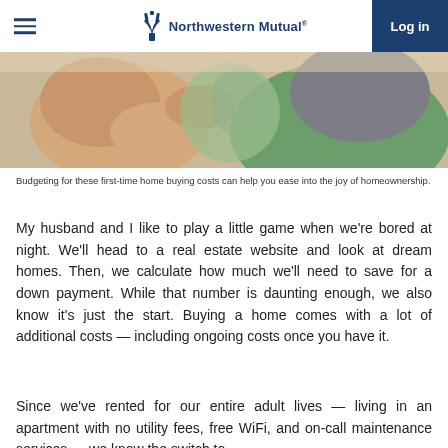Northwestern Mutual | Log in
[Figure (photo): Close-up photo of two people looking at something, one with a raised hand, the other in a green shirt. Soft focus background.]
Budgeting for these first-time home buying costs can help you ease into the joy of homeownership.
My husband and I like to play a little game when we're bored at night. We'll head to a real estate website and look at dream homes. Then, we calculate how much we'll need to save for a down payment. While that number is daunting enough, we also know it's just the start. Buying a home comes with a lot of additional costs — including ongoing costs once you have it.
Since we've rented for our entire adult lives — living in an apartment with no utility fees, free WiFi, and on-call maintenance services — we know the switch to